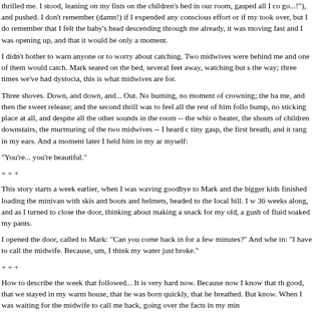thrilled me. I stood, leaning on my fists on the children's bed in our room, gasped all I co go...!"), and pushed. I don't remember (damn!) if I expended any conscious effort or if my took over, but I do remember that I felt the baby's head descending through me already, it was moving fast and I was opening up, and that it would be only a moment.
I didn't bother to warn anyone or to worry about catching. Two midwives were behind me and one of them would catch. Mark seated on the bed, several feet away, watching but s the way; three times we've had dystocia, this is what midwives are for.
Three shoves. Down, and down, and... Out. No burning, no moment of crowning; the ba me, and then the sweet release; and the second thrill was to feel all the rest of him follo bump, no sticking place at all, and despite all the other sounds in the room -- the whir o heater, the shouts of children downstairs, the murmuring of the two midwives -- I heard c tiny gasp, the first breath, and it rang in my ears. And a moment later I held him in my ar myself:
"You're... you're beautiful."
+ + +
This story starts a week earlier, when I was waving goodbye to Mark and the bigger kids finished loading the minivan with skis and boots and helmets, headed to the local hill. I w 36 weeks along, and as I turned to close the door, thinking about making a snack for my old, a gush of fluid soaked my pants.
I opened the door, called to Mark: "Can you come back in for a few minutes?" And whe in: "I have to call the midwife. Because, um, I think my water just broke."
+ + +
How to describe the week that followed... It is very hard now. Because now I know that th good, that we stayed in my warm house, that he was born quickly, that he breathed. But know. When I was waiting for the midwife to call me back, going over the facts in my min
-- it isn't 36 weeks yet
-- that fluid coming out of me is definitely not urine
-- labor usually starts within 24 hours of membrane rupture